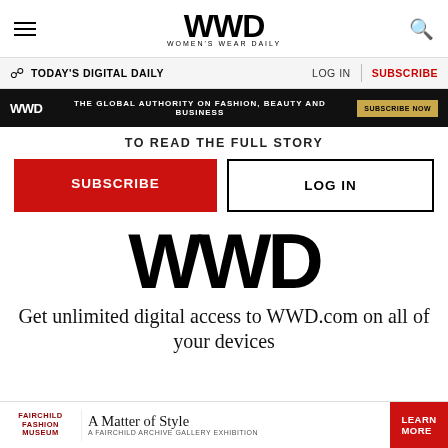WWD WOMEN'S WEAR DAILY
TODAY'S DIGITAL DAILY   LOG IN   SUBSCRIBE
WWD - THE GLOBAL AUTHORITY ON FASHION, BEAUTY AND BUSINESS - SUBSCRIBE NOW
TO READ THE FULL STORY
SUBSCRIBE
LOG IN
[Figure (logo): Large WWD logo in bold black text]
Get unlimited digital access to WWD.com on all of your devices
[Figure (advertisement): Fairchild Fashion Museum - A Matter of Style - A Fairchild Archive Gallery Exhibition - LEARN MORE]